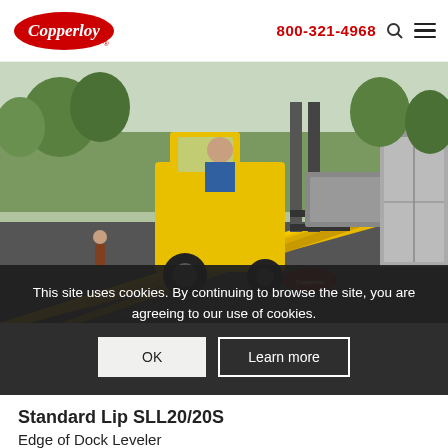Copperloy | 800-321-4968
[Figure (photo): A yellow forklift driving up a yellow Copperloy loading ramp toward a truck/trailer in an outdoor setting.]
This site uses cookies. By continuing to browse the site, you are agreeing to our use of cookies.
OK | Learn more
Standard Lip SLL20/20S
Edge of Dock Leveler